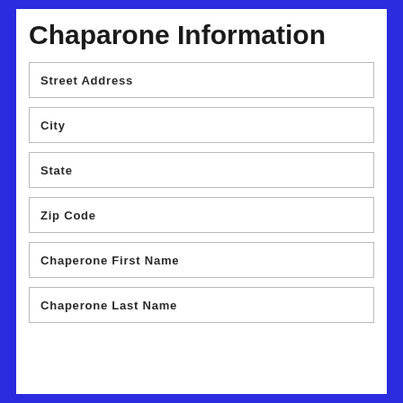Chaparone Information
Street Address
City
State
Zip Code
Chaperone First Name
Chaperone Last Name